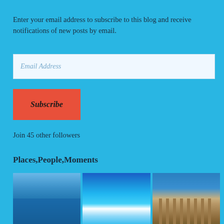Enter your email address to subscribe to this blog and receive notifications of new posts by email.
Email Address
Subscribe
Join 45 other followers
Places,People,Moments
[Figure (photo): Three travel photos side by side: calm blue sea, turquoise ocean wave, and ancient Greek ruins/temple columns]